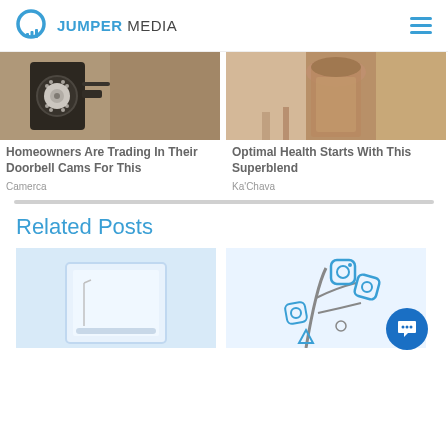JUMPER MEDIA
[Figure (photo): Security camera mounted on stone wall]
Homeowners Are Trading In Their Doorbell Cams For This
Camerca
[Figure (photo): Chocolate smoothie/superblend drink in glass]
Optimal Health Starts With This Superblend
Ka'Chava
Related Posts
[Figure (illustration): Window/door illustration on light blue background]
[Figure (illustration): Instagram-like icons falling from a tree branch illustration]